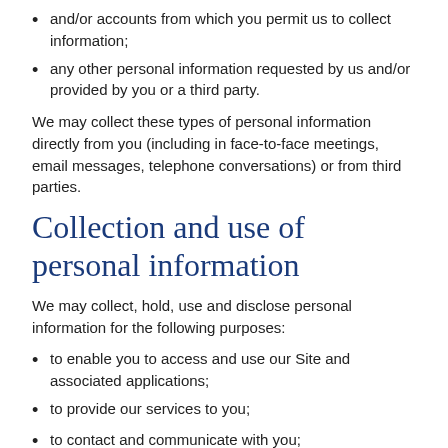and/or accounts from which you permit us to collect information;
any other personal information requested by us and/or provided by you or a third party.
We may collect these types of personal information directly from you (including in face-to-face meetings, email messages, telephone conversations) or from third parties.
Collection and use of personal information
We may collect, hold, use and disclose personal information for the following purposes:
to enable you to access and use our Site and associated applications;
to provide our services to you;
to contact and communicate with you;
for internal record keeping, administrative purposes, invoicing and billing purposes;
for analytics, market research and business development, including to operate and improve our Site and associated